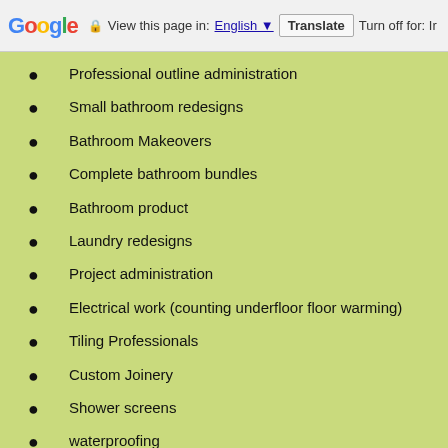Google  View this page in: English  Translate  Turn off for: Ir
Professional outline administration
Small bathroom redesigns
Bathroom Makeovers
Complete bathroom bundles
Bathroom product
Laundry redesigns
Project administration
Electrical work (counting underfloor floor warming)
Tiling Professionals
Custom Joinery
Shower screens
waterproofing